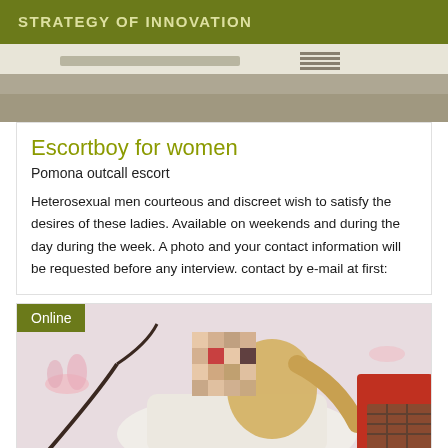STRATEGY OF INNOVATION
[Figure (photo): Top photo showing a blurred table setting scene, light gray and brown tones]
Escortboy for women
Pomona outcall escort
Heterosexual men courteous and discreet wish to satisfy the desires of these ladies. Available on weekends and during the day during the week. A photo and your contact information will be requested before any interview. contact by e-mail at first:
[Figure (photo): Bottom photo of a woman with pixelated/blurred face, lying down, floral wallpaper background, red and plaid elements visible]